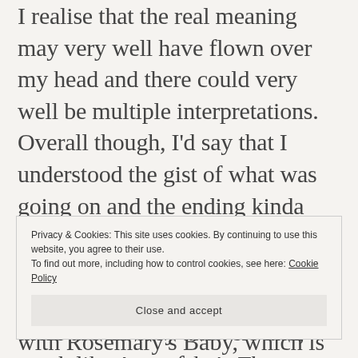I realise that the real meaning may very well have flown over my head and there could very well be multiple interpretations. Overall though, I'd say that I understood the gist of what was going on and the ending kinda sorta made sense but this is a film that requires some serious pondering and head-scratching as there are no easy answers and, much like Aronofsky's The Fountain (which was unnecessarily convoluted), it's a film that requires some deciphering.
Privacy & Cookies: This site uses cookies. By continuing to use this website, you agree to their use.
To find out more, including how to control cookies, see here: Cookie Policy
Close and accept
with Rosemary's Baby, which is what I'm